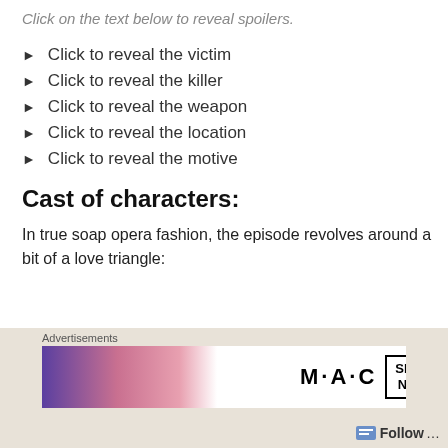Click on the text below to reveal spoilers.
Click to reveal the victim
Click to reveal the killer
Click to reveal the weapon
Click to reveal the location
Click to reveal the motive
Cast of characters:
In true soap opera fashion, the episode revolves around a bit of a love triangle:
[Figure (photo): Three partially visible dark portrait photos at bottom of page]
Advertisements
[Figure (photo): MAC cosmetics advertisement showing lipsticks and SHOP NOW button]